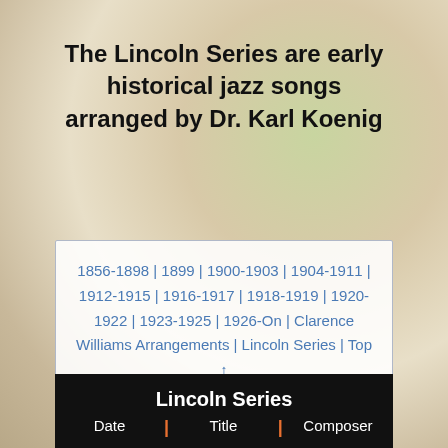The Lincoln Series are early historical jazz songs arranged by Dr. Karl Koenig
1856-1898 | 1899 | 1900-1903 | 1904-1911 | 1912-1915 | 1916-1917 | 1918-1919 | 1920-1922 | 1923-1925 | 1926-On | Clarence Williams Arrangements | Lincoln Series | Top ↑
| Date | Title | Composer |
| --- | --- | --- |